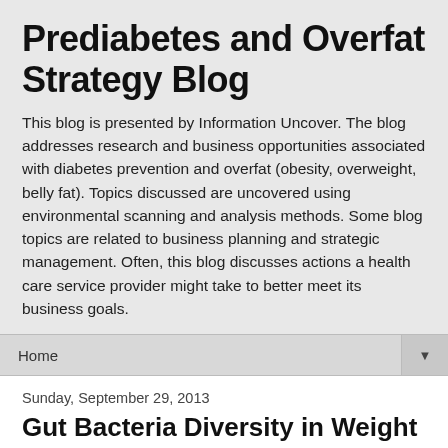Prediabetes and Overfat Strategy Blog
This blog is presented by Information Uncover. The blog addresses research and business opportunities associated with diabetes prevention and overfat (obesity, overweight, belly fat). Topics discussed are uncovered using environmental scanning and analysis methods. Some blog topics are related to business planning and strategic management. Often, this blog discusses actions a health care service provider might take to better meet its business goals.
Home
Sunday, September 29, 2013
Gut Bacteria Diversity in Weight Control